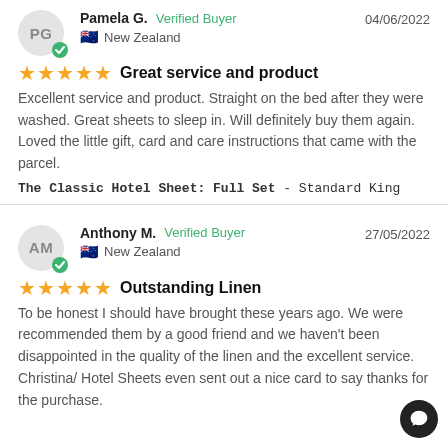Pamela G. — Verified Buyer — 04/06/2022 — New Zealand
★★★★★  Great service and product
Excellent service and product. Straight on the bed after they were washed. Great sheets to sleep in. Will definitely buy them again. Loved the little gift, card and care instructions that came with the parcel.
The Classic Hotel Sheet: Full Set - Standard King
Anthony M. — Verified Buyer — 27/05/2022 — New Zealand
★★★★★  Outstanding Linen
To be honest I should have brought these years ago. We were recommended them by a good friend and we haven't been disappointed in the quality of the linen and the excellent service.
Christina/ Hotel Sheets even sent out a nice card to say thanks for the purchase.